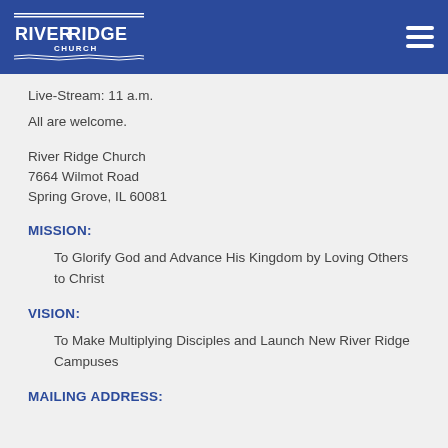[Figure (logo): River Ridge Church logo in white on dark blue background header bar with hamburger menu icon]
Live-Stream: 11 a.m.
All are welcome.
River Ridge Church
7664 Wilmot Road
Spring Grove, IL 60081
MISSION:
To Glorify God and Advance His Kingdom by Loving Others to Christ
VISION:
To Make Multiplying Disciples and Launch New River Ridge Campuses
MAILING ADDRESS: